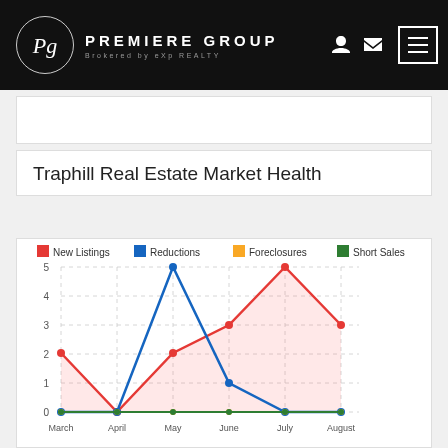Premiere Group — Brokered by eXp REALTY
Traphill Real Estate Market Health
[Figure (line-chart): Traphill Real Estate Market Health]